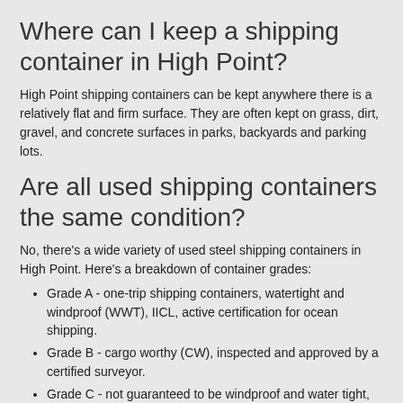Where can I keep a shipping container in High Point?
High Point shipping containers can be kept anywhere there is a relatively flat and firm surface. They are often kept on grass, dirt, gravel, and concrete surfaces in parks, backyards and parking lots.
Are all used shipping containers the same condition?
No, there's a wide variety of used steel shipping containers in High Point. Here's a breakdown of container grades:
Grade A - one-trip shipping containers, watertight and windproof (WWT), IICL, active certification for ocean shipping.
Grade B - cargo worthy (CW), inspected and approved by a certified surveyor.
Grade C - not guaranteed to be windproof and water tight, sold as is.
Ready to compare prices on a shipping container in High Point, North Carolina? Give one of the pre-screened companies